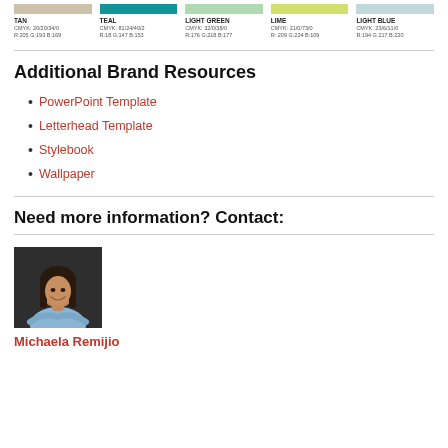[Figure (infographic): Five color swatches: TAN (CMYK: 20/20/34/0, R:205 G:193 B:169), TEAL (CMYK: 81/24/40/2, R:18 G:147 B:153), LIGHT GREEN (CMYK: 32/0/38/0, R:176 G:218 B:177), LIME (CMYK: 21/0/73/0, R:209 G:224 B:109), LIGHT BLUE (CMYK: 23/6/11/0, R:194 G:217 B:220)]
Additional Brand Resources
PowerPoint Template
Letterhead Template
Stylebook
Wallpaper
Need more information? Contact:
[Figure (photo): Headshot of Michaela Remijio, a woman with long dark hair wearing a light blue top, smiling with arms crossed, against a dark background]
Michaela Remijio